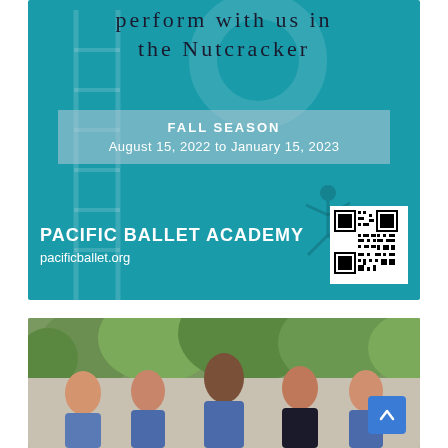[Figure (illustration): Pacific Ballet Academy advertisement on teal background. Text reads 'perform with us in the Nutcracker', 'FALL SEASON August 15, 2022 to January 15, 2023', 'PACIFIC BALLET ACADEMY', 'pacificballet.org'. Includes a QR code and dancer silhouette.]
[Figure (photo): Group photo of five women in blue uniforms standing in front of green foliage. A blue scroll-to-top button is visible in the lower right corner.]